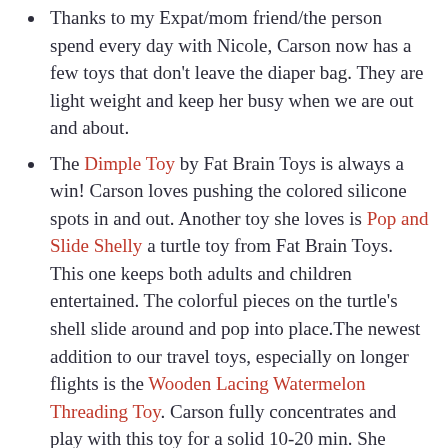Thanks to my Expat/mom friend/the person spend every day with Nicole, Carson now has a few toys that don't leave the diaper bag. They are light weight and keep her busy when we are out and about.
The Dimple Toy by Fat Brain Toys is always a win! Carson loves pushing the colored silicone spots in and out. Another toy she loves is Pop and Slide Shelly a turtle toy from Fat Brain Toys. This one keeps both adults and children entertained. The colorful pieces on the turtle's shell slide around and pop into place.The newest addition to our travel toys, especially on longer flights is the Wooden Lacing Watermelon Threading Toy. Carson fully concentrates and play with this toy for a solid 10-20 min. She enjoys threading the little green worm through all of the holes in the watermelon.Water Wow books by Melissa and Doug are also great to have on hand. Simply fill